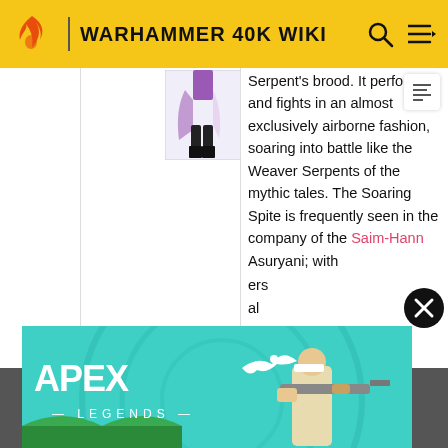WARHAMMER 40K WIKI
[Figure (illustration): Character illustration showing lower body with purple/pink flowing fabric and dark boots]
Serpent's brood. It performs and fights in an almost exclusively airborne fashion, soaring into battle like the Weaver Serpents of the mythic tales. The Soaring Spite is frequently seen in the company of the Saim-Hann Asuryani; with ers al are ular within the toroid
[Figure (photo): Apex Legends advertisement banner showing a character with a sniper rifle and a white bird/creature, with 'APEX LEGENDS' text on teal background]